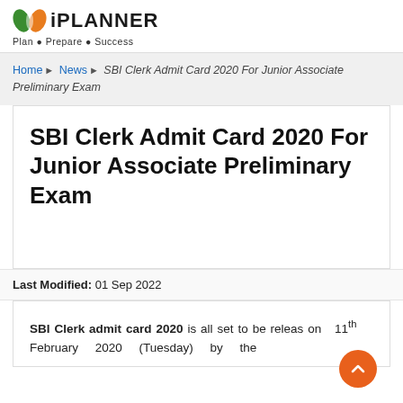[Figure (logo): iPlanner logo with green/orange leaf icon and tagline Plan Prepare Success]
Home ▶ News ▶ SBI Clerk Admit Card 2020 For Junior Associate Preliminary Exam
SBI Clerk Admit Card 2020 For Junior Associate Preliminary Exam
Last Modified: 01 Sep 2022
SBI Clerk admit card 2020 is all set to be released on 11th February 2020 (Tuesday) by the